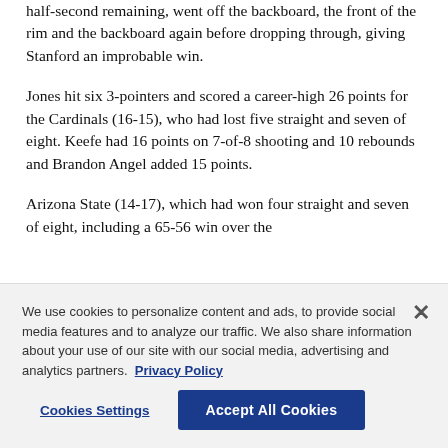half-second remaining, went off the backboard, the front of the rim and the backboard again before dropping through, giving Stanford an improbable win.
Jones hit six 3-pointers and scored a career-high 26 points for the Cardinals (16-15), who had lost five straight and seven of eight. Keefe had 16 points on 7-of-8 shooting and 10 rebounds and Brandon Angel added 15 points.
Arizona State (14-17), which had won four straight and seven of eight, including a 65-56 win over the
We use cookies to personalize content and ads, to provide social media features and to analyze our traffic. We also share information about your use of our site with our social media, advertising and analytics partners. Privacy Policy
Cookies Settings
Accept All Cookies